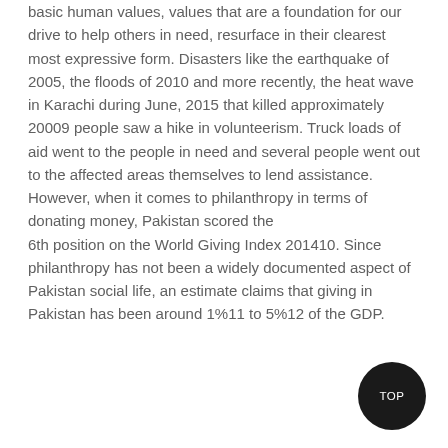basic human values, values that are a foundation for our drive to help others in need, resurface in their clearest most expressive form. Disasters like the earthquake of 2005, the floods of 2010 and more recently, the heat wave in Karachi during June, 2015 that killed approximately 20009 people saw a hike in volunteerism. Truck loads of aid went to the people in need and several people went out to the affected areas themselves to lend assistance. However, when it comes to philanthropy in terms of donating money, Pakistan scored the 6th position on the World Giving Index 201410. Since philanthropy has not been a widely documented aspect of Pakistan social life, an estimate claims that giving in Pakistan has been around 1%11 to 5%12 of the GDP.